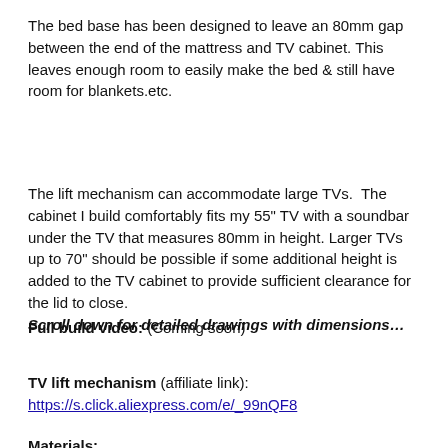The bed base has been designed to leave an 80mm gap between the end of the mattress and TV cabinet. This leaves enough room to easily make the bed & still have room for blankets.etc.
The lift mechanism can accommodate large TVs. The cabinet I build comfortably fits my 55" TV with a soundbar under the TV that measures 80mm in height. Larger TVs up to 70" should be possible if some additional height is added to the TV cabinet to provide sufficient clearance for the lid to close. Scroll down for detailed drawings with dimensions...
Full build video: (Coming soon)
TV lift mechanism (affiliate link): https://s.click.aliexpress.com/e/_99nQF8
Materials: